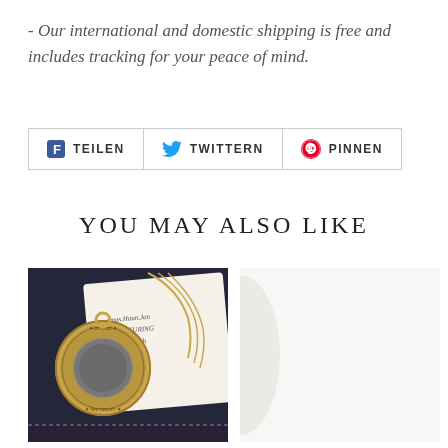- Our international and domestic shipping is free and includes tracking for your peace of mind.
[Figure (other): Social sharing buttons: Facebook TEILEN, Twitter TWITTERN, Pinterest PINNEN]
YOU MAY ALSO LIKE
[Figure (photo): Photo of an antique gold locket pendant on a chain, displayed in a dark blue velvet jewelry box with decorative paper/card behind it. The locket has ornate engravings around the edge.]
[Figure (photo): Partial/cropped photo showing similar antique jewelry display, mostly white/light background visible]